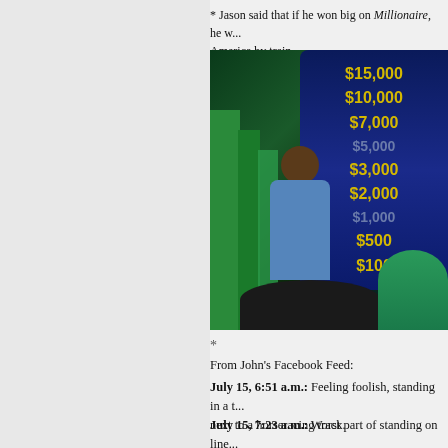* Jason said that if he won big on Millionaire, he w... America by train.
[Figure (photo): A man in a blue shirt stands smiling on the set of Who Wants to Be a Millionaire, with a prize money board visible showing $15,000, $10,000, $7,000, $3,000, $2,000, $500, $100, and a green staircase set piece.]
*
From John's Facebook Feed:
July 15, 6:51 a.m.: Feeling foolish, standing in a t... next to a horseracing track.
July 15, 7:23 a.m.: Worst part of standing on line...